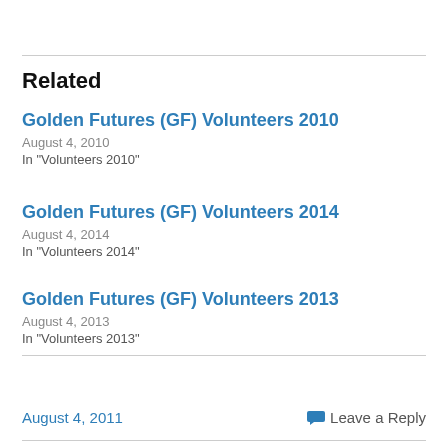Related
Golden Futures (GF) Volunteers 2010
August 4, 2010
In "Volunteers 2010"
Golden Futures (GF) Volunteers 2014
August 4, 2014
In "Volunteers 2014"
Golden Futures (GF) Volunteers 2013
August 4, 2013
In "Volunteers 2013"
August 4, 2011   Leave a Reply